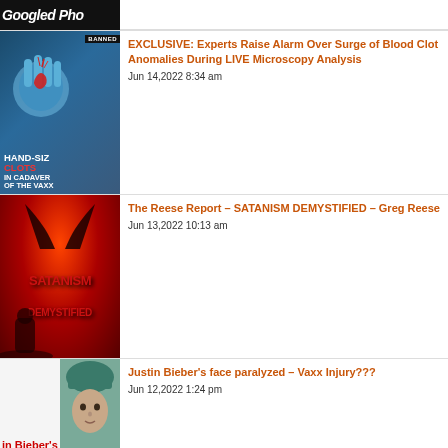[Figure (screenshot): Partial thumbnail showing white bold italic text 'Googled Pho' on dark background]
[Figure (screenshot): Thumbnail: blue gloved hand holding blood clot with text HAND-SIZE CLOTS IN CADAVER OF THE VAXX, with BANNED badge]
EXCLUSIVE: Experts Raise Alarm Over Surge of Blood Clot Anomalies During LIVE Microscopy Analysis
Jun 14,2022 8:34 am
[Figure (screenshot): Red themed thumbnail with SATANISM DEMYSTIFIED text and devil horns silhouette]
The Reese Report – SATANISM DEMYSTIFIED – Greg Reese
Jun 13,2022 10:13 am
[Figure (screenshot): Partial thumbnail showing Justin Bieber with green hat and red text 'in Bieber's']
Justin Bieber's face paralyzed – Vaxx Injury???
Jun 12,2022 1:24 pm